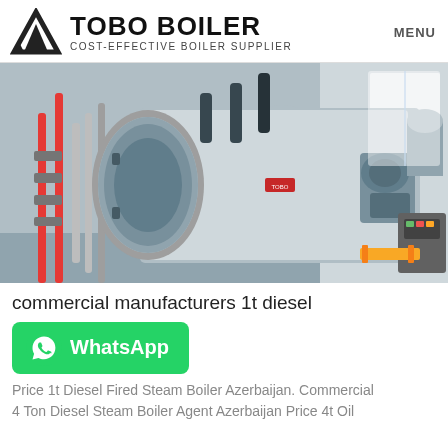TOBO BOILER COST-EFFECTIVE BOILER SUPPLIER | MENU
[Figure (photo): Industrial boiler equipment in a factory setting. A large cylindrical stainless steel boiler with piping, valves, and a burner assembly in an industrial room.]
commercial manufacturers 1t diesel
[Figure (other): WhatsApp contact button with WhatsApp logo]
Price 1t Diesel Fired Steam Boiler Azerbaijan. Commercial 4 Ton Diesel Steam Boiler Agent Azerbaijan Price 4t Oil